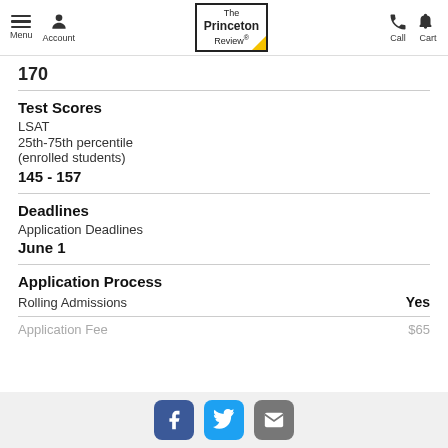Menu Account | The Princeton Review | Call Cart
170
Test Scores
LSAT
25th-75th percentile (enrolled students)
145 - 157
Deadlines
Application Deadlines
June 1
Application Process
Rolling Admissions    Yes
Application Fee    $65
Facebook Twitter Email